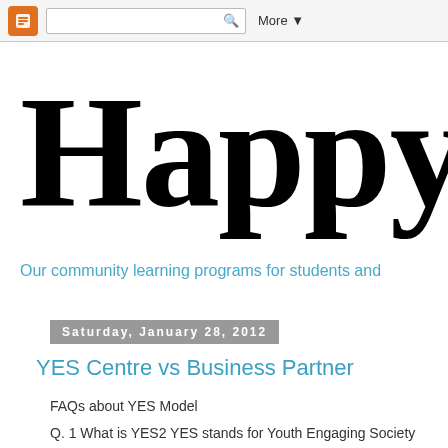More ▼
Happy T
Our community learning programs for students and
Saturday, January 28, 2012
YES Centre vs Business Partner
FAQs about YES Model
Q. 1 What is YES2 YES stands for Youth Engaging Society